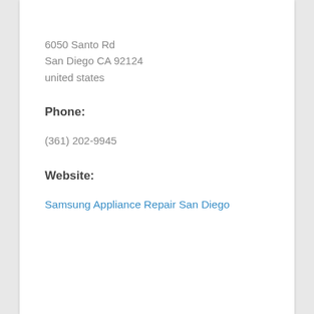6050 Santo Rd
San Diego CA 92124
united states
Phone:
(361) 202-9945
Website:
Samsung Appliance Repair San Diego